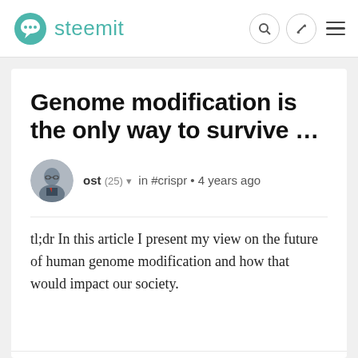steemit
Genome modification is the only way to survive ...
ost (25) ▾ in #crispr • 4 years ago
tl;dr In this article I present my view on the future of human genome modification and how that would impact our society.